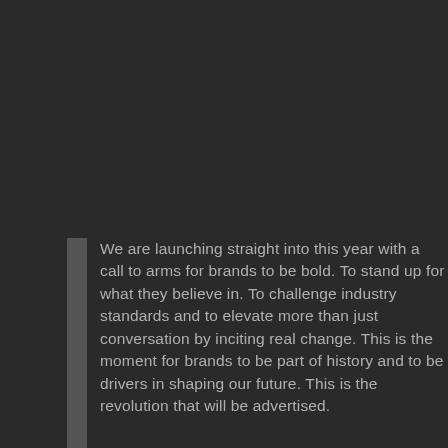We are launching straight into this year with a call to arms for brands to be bold. To stand up for what they believe in. To challenge industry standards and to elevate more than just conversation by inciting real change. This is the moment for brands to be part of history and to be drivers in shaping our future. This is the revolution that will be advertised.